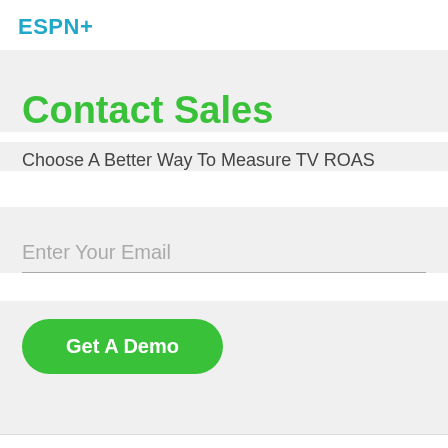ESPN+
Contact Sales
Choose A Better Way To Measure TV ROAS
Enter Your Email
Get A Demo
This site uses cookies to provide you with a great user experience. By using iSpot.tv, you accept our use of cookies.
ACCEPT